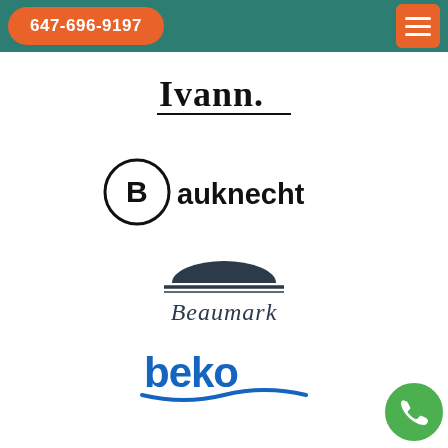647-696-9197
[Figure (logo): Ivann script logo in cursive black lettering with underline]
[Figure (logo): Bauknecht logo with circular B symbol and bold sans-serif text]
[Figure (logo): Beaumark logo with dark arch/dome icon above italic serif text]
[Figure (logo): beko logo in blue bold lowercase letters with blue underline stroke]